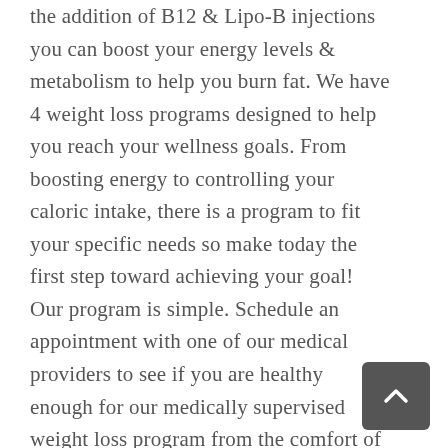the addition of B12 & Lipo-B injections you can boost your energy levels & metabolism to help you burn fat. We have 4 weight loss programs designed to help you reach your wellness goals. From boosting energy to controlling your caloric intake, there is a program to fit your specific needs so make today the first step toward achieving your goal! Our program is simple. Schedule an appointment with one of our medical providers to see if you are healthy enough for our medically supervised weight loss program from the comfort of your own home. Monthly Medical Provider Consultations Included Bi-Weekly Dietitian Sessions Included Medications NOT